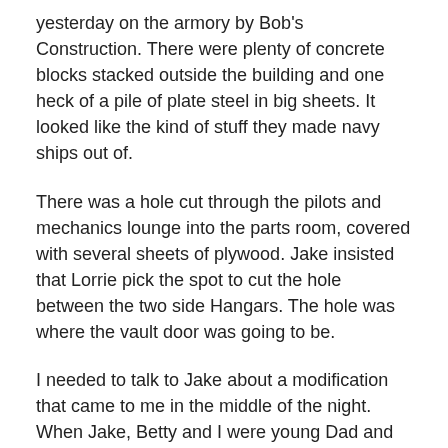yesterday on the armory by Bob's Construction. There were plenty of concrete blocks stacked outside the building and one heck of a pile of plate steel in big sheets. It looked like the kind of stuff they made navy ships out of.
There was a hole cut through the pilots and mechanics lounge into the parts room, covered with several sheets of plywood. Jake insisted that Lorrie pick the spot to cut the hole between the two side Hangars. The hole was where the vault door was going to be.
I needed to talk to Jake about a modification that came to me in the middle of the night. When Jake, Betty and I were young Dad and Mom and the Smiths carried us on day trips to historic places on the Delmarva. One of those trips was a tour of the original E. I. DuPont black powder factory called the "Brandywine River Powder Mills". The